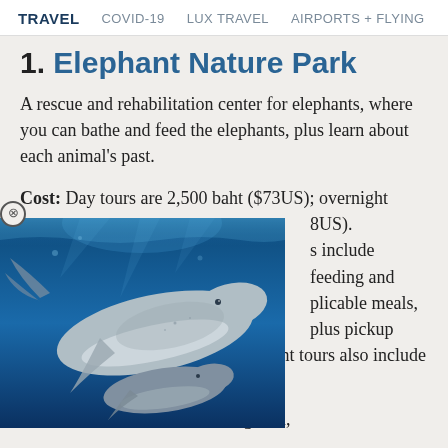TRAVEL   COVID-19   LUX TRAVEL   AIRPORTS + FLYING
1. Elephant Nature Park
A rescue and rehabilitation center for elephants, where you can bathe and feed the elephants, plus learn about each animal's past.
Cost: Day tours are 2,500 baht ($73US); overnight 8US).
[Figure (photo): Underwater photo of humpback whale with smaller whale beneath, deep blue ocean water]
s include feeding and plicable meals, plus pickup and dropoff in Chiang Mai. Overnight tours also include hut accommodation.
Location: 60km outside Chiang Mai,